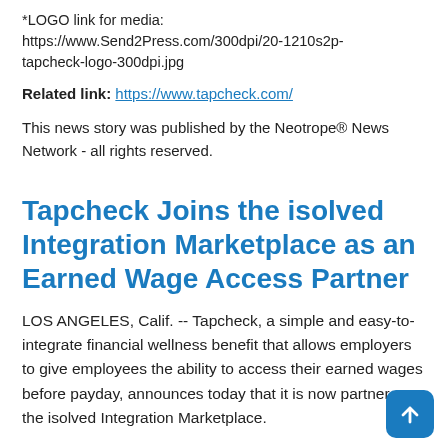*LOGO link for media: https://www.Send2Press.com/300dpi/20-1210s2p-tapcheck-logo-300dpi.jpg
Related link: https://www.tapcheck.com/
This news story was published by the Neotrope® News Network - all rights reserved.
Tapcheck Joins the isolved Integration Marketplace as an Earned Wage Access Partner
LOS ANGELES, Calif. -- Tapcheck, a simple and easy-to-integrate financial wellness benefit that allows employers to give employees the ability to access their earned wages before payday, announces today that it is now partner on the isolved Integration Marketplace.